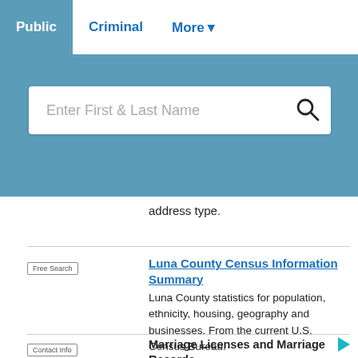Public | Criminal | More
address type.
[Free Search] Luna County Census Information Summary — Luna County statistics for population, ethnicity, housing, geography and businesses. From the current U.S. Census Bureau.
[Contact Info] Marriage Licenses and Marriage Records — View Luna County information and requirements about obtaining marriage
ADVERTISEMENT